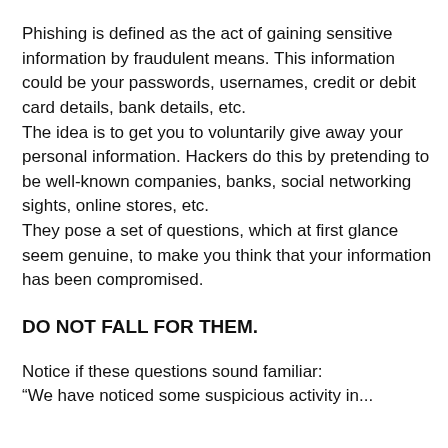Phishing is defined as the act of gaining sensitive information by fraudulent means. This information could be your passwords, usernames, credit or debit card details, bank details, etc. The idea is to get you to voluntarily give away your personal information. Hackers do this by pretending to be well-known companies, banks, social networking sights, online stores, etc. They pose a set of questions, which at first glance seem genuine, to make you think that your information has been compromised.
DO NOT FALL FOR THEM.
Notice if these questions sound familiar:
"We have noticed some suspicious activity in...